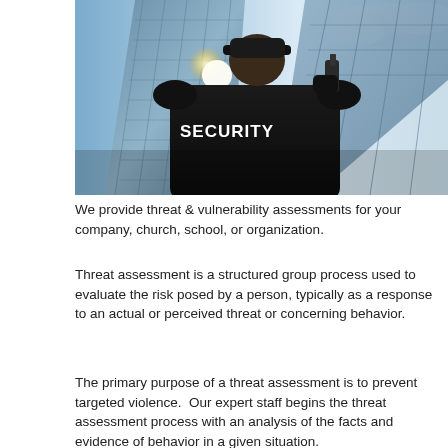[Figure (photo): A security guard wearing a black jacket with 'SECURITY' written on the back, holding a radio, standing in front of a glass skyscraper building with a bright light flare and cloudy sky.]
We provide threat & vulnerability assessments for your company, church, school, or organization.
Threat assessment is a structured group process used to evaluate the risk posed by a person, typically as a response to an actual or perceived threat or concerning behavior.
The primary purpose of a threat assessment is to prevent targeted violence.  Our expert staff begins the threat assessment process with an analysis of the facts and evidence of behavior in a given situation.